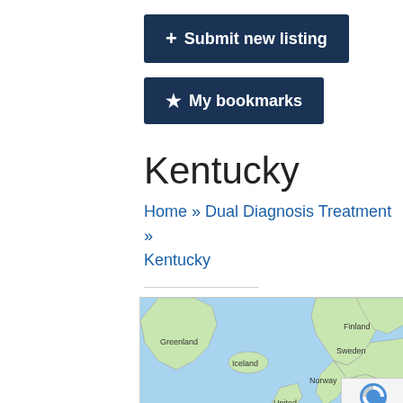[Figure (screenshot): Button: + Submit new listing, dark navy background, white text]
[Figure (screenshot): Button: star My bookmarks, dark navy background, white text]
Kentucky
Home » Dual Diagnosis Treatment » Kentucky
[Figure (map): Google map showing northern hemisphere including Greenland, Iceland, Sweden, Finland, Norway, United Kingdom area]